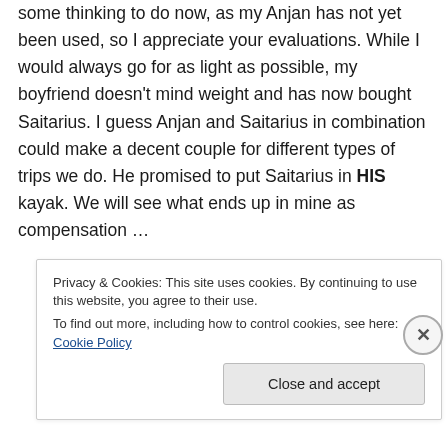some thinking to do now, as my Anjan has not yet been used, so I appreciate your evaluations. While I would always go for as light as possible, my boyfriend doesn't mind weight and has now bought Saitarius. I guess Anjan and Saitarius in combination could make a decent couple for different types of trips we do. He promised to put Saitarius in HIS kayak. We will see what ends up in mine as compensation …
Privacy & Cookies: This site uses cookies. By continuing to use this website, you agree to their use. To find out more, including how to control cookies, see here: Cookie Policy